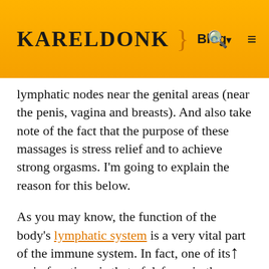KarelDonk } Blog ▾ 🔍 ≡
lymphatic nodes near the genital areas (near the penis, vagina and breasts). And also take note of the fact that the purpose of these massages is stress relief and to achieve strong orgasms. I'm going to explain the reason for this below.
As you may know, the function of the body's lymphatic system is a very vital part of the immune system. In fact, one of its main functions is that of defense in the immune system. The lymph fluid which is